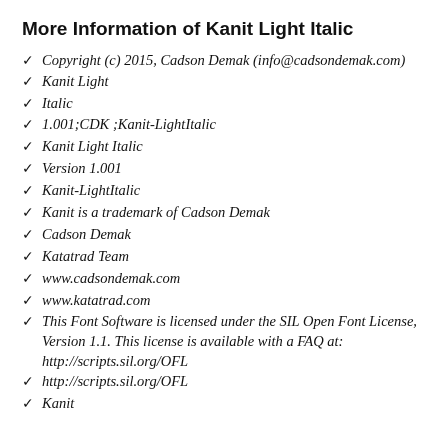More Information of Kanit Light Italic
Copyright (c) 2015, Cadson Demak (info@cadsondemak.com)
Kanit Light
Italic
1.001;CDK ;Kanit-LightItalic
Kanit Light Italic
Version 1.001
Kanit-LightItalic
Kanit is a trademark of Cadson Demak
Cadson Demak
Katatrad Team
www.cadsondemak.com
www.katatrad.com
This Font Software is licensed under the SIL Open Font License, Version 1.1. This license is available with a FAQ at: http://scripts.sil.org/OFL
http://scripts.sil.org/OFL
Kanit